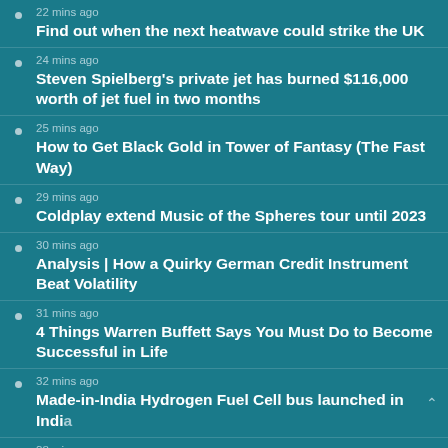22 mins ago
Find out when the next heatwave could strike the UK
24 mins ago
Steven Spielberg's private jet has burned $116,000 worth of jet fuel in two months
25 mins ago
How to Get Black Gold in Tower of Fantasy (The Fast Way)
29 mins ago
Coldplay extend Music of the Spheres tour until 2023
30 mins ago
Analysis | How a Quirky German Credit Instrument Beat Volatility
31 mins ago
4 Things Warren Buffett Says You Must Do to Become Successful in Life
32 mins ago
Made-in-India Hydrogen Fuel Cell bus launched in India
38 mins ago
Brand loyalty: automakers become relationship servi...